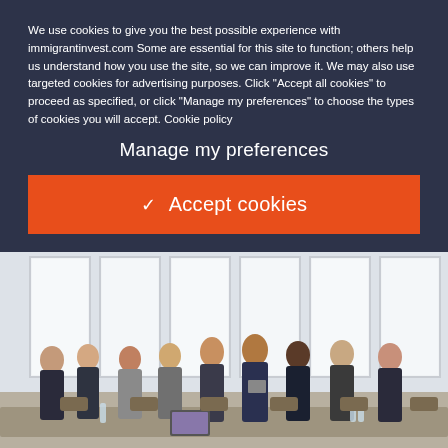We use cookies to give you the best possible experience with immigrantinvest.com Some are essential for this site to function; others help us understand how you use the site, so we can improve it. We may also use targeted cookies for advertising purposes. Click "Accept all cookies" to proceed as specified, or click "Manage my preferences" to choose the types of cookies you will accept. Cookie policy
Manage my preferences
✓ Accept cookies
[Figure (photo): Business professionals standing around a conference table in a bright office room with large windows, having a meeting or discussion.]